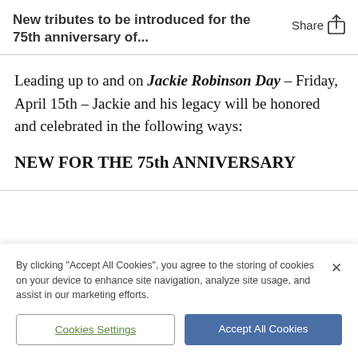New tributes to be introduced for the 75th anniversary of...
Leading up to and on Jackie Robinson Day – Friday, April 15th – Jackie and his legacy will be honored and celebrated in the following ways:
NEW FOR THE 75th ANNIVERSARY
By clicking "Accept All Cookies", you agree to the storing of cookies on your device to enhance site navigation, analyze site usage, and assist in our marketing efforts.